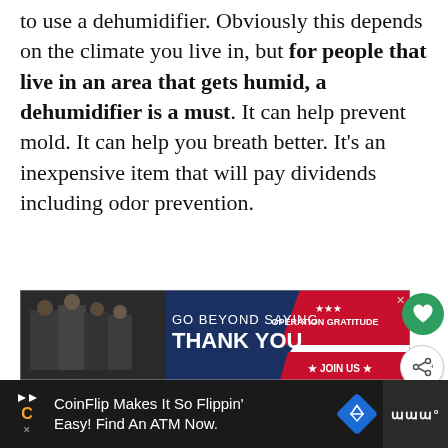to use a dehumidifier. Obviously this depends on the climate you live in, but for people that live in an area that gets humid, a dehumidifier is a must. It can help prevent mold. It can help you breath better. It's an inexpensive item that will pay dividends including odor prevention.
[Figure (other): Advertisement banner: 'GO BEYOND SAYING THANK YOU' Operation Gratitude JOIN US]
[Figure (other): What's Next: Getting the Smell Out of...]
[Figure (other): Bottom advertisement banner: CoinFlip Makes It So Flippin' Easy! Find An ATM Now.]